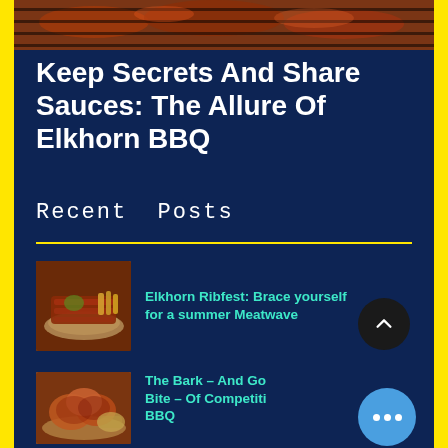[Figure (photo): Top portion of a BBQ/grilling photo showing meat on a grill from above]
Keep Secrets And Share Sauces: The Allure Of Elkhorn BBQ
Recent Posts
[Figure (photo): Plate of BBQ ribs with fries]
Elkhorn Ribfest: Brace yourself for a summer Meatwave
[Figure (photo): BBQ chicken or ribs on a plate with sides]
The Bark – And Go Bite – Of Competiti… BBQ